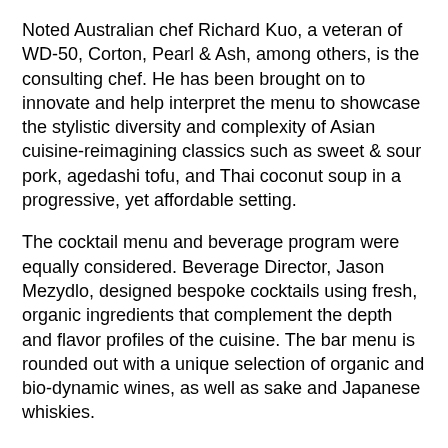Noted Australian chef Richard Kuo, a veteran of WD-50, Corton, Pearl & Ash, among others, is the consulting chef. He has been brought on to innovate and help interpret the menu to showcase the stylistic diversity and complexity of Asian cuisine-reimagining classics such as sweet & sour pork, agedashi tofu, and Thai coconut soup in a progressive, yet affordable setting.
The cocktail menu and beverage program were equally considered. Beverage Director, Jason Mezydlo, designed bespoke cocktails using fresh, organic ingredients that complement the depth and flavor profiles of the cuisine. The bar menu is rounded out with a unique selection of organic and bio-dynamic wines, as well as sake and Japanese whiskies.
The Monarch Theater Restaurant is open Tuesday through Saturday, 5 p.m. to 11 p.m. Reservations not needed except for parties of 5 or more.
For more information:
https://monarchtheaterrestaurant.com/